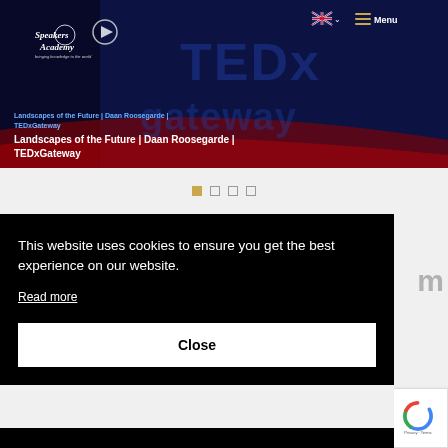[Figure (screenshot): Speakers Academy website header with logo, navigation bar with UK flag and Menu button, play button, and TEDxGateway video banner showing 'Landscapes of the Future | Daan Roosegarde | TEDxGateway' title]
[Figure (other): Carousel navigation dots: one filled gold dot (active) and three empty square dots]
This website uses cookies to ensure you get the best experience on our website.
Read more
Close